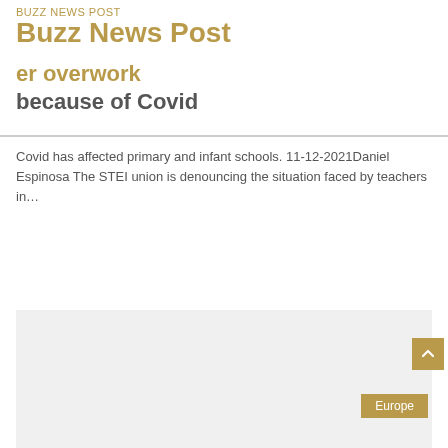Buzz News Post
Union denouncing teacher overwork because of Covid
Covid has affected primary and infant schools. 11-12-2021Daniel Espinosa The STEI union is denouncing the situation faced by teachers in…
Read More »
[Figure (photo): Gray placeholder image area below the article excerpt]
Europe